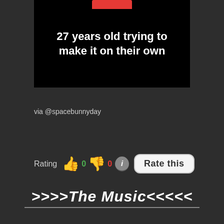[Figure (screenshot): Black video thumbnail block with white bold text '27 years old trying to make it on their own' and a red bar at the top center]
via @spacebunnyday
[Figure (infographic): Rating row with thumbs up emoji, 0 count in green, thumbs down emoji, 0 count in red, info button, and 'Rate this' button]
>>>>The Music<<<<<